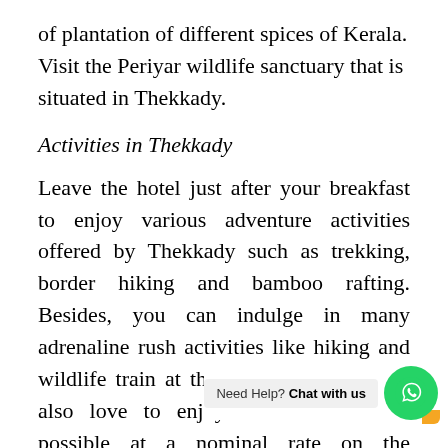of plantation of different spices of Kerala. Visit the Periyar wildlife sanctuary that is situated in Thekkady.
Activities in Thekkady
Leave the hotel just after your breakfast to enjoy various adventure activities offered by Thekkady such as trekking, border hiking and bamboo rafting. Besides, you can indulge in many adrenaline rush activities like hiking and wildlife train at this destination. Visitors also love to enjoy boat ride that is possible at a nominal rate on the a... sanctuary. With scenic beauty and exotic flora and fauna it is a favourite tourist destination for...